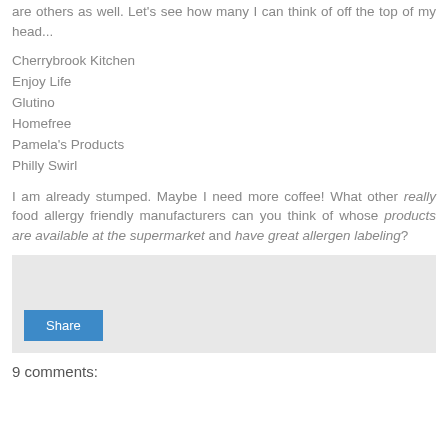are others as well. Let's see how many I can think of off the top of my head...
Cherrybrook Kitchen
Enjoy Life
Glutino
Homefree
Pamela's Products
Philly Swirl
I am already stumped. Maybe I need more coffee! What other really food allergy friendly manufacturers can you think of whose products are available at the supermarket and have great allergen labeling?
[Figure (other): Share button UI element inside a light grey box with a blue Share button]
9 comments: